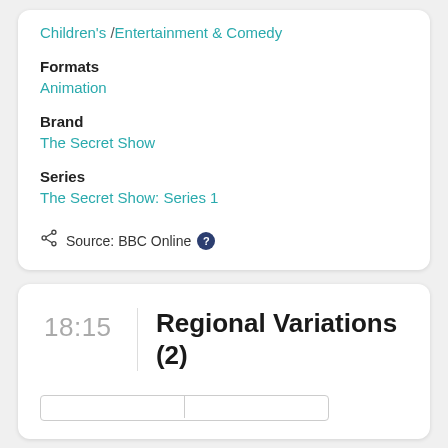Children's /Entertainment & Comedy
Formats
Animation
Brand
The Secret Show
Series
The Secret Show: Series 1
Source: BBC Online
18:15
Regional Variations (2)